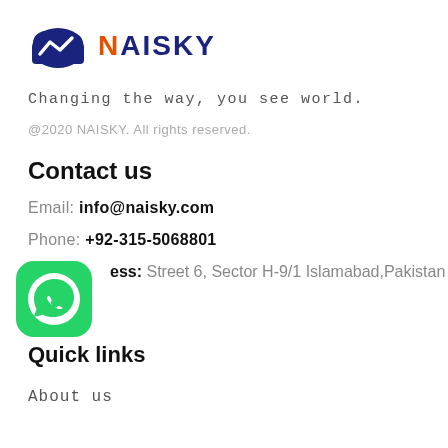[Figure (logo): NAISKY company logo with cloud/chart icon in dark blue and orange, text NAISKY in dark blue]
Changing the way, you see world.
@2020 NAISKY. All rights reserved.
Contact us
Email: info@naisky.com
Phone: +92-315-5068801
[Figure (logo): WhatsApp green icon]
Address: Street 6, Sector H-9/1 Islamabad,Pakistan
Quick links
About us